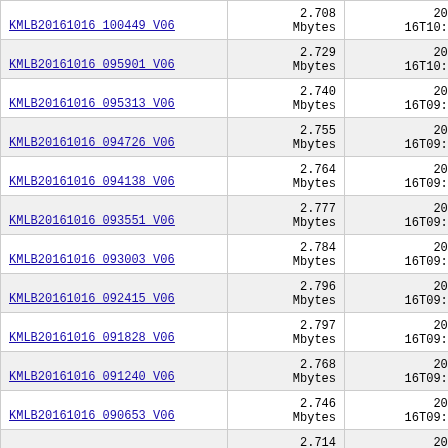| Filename | Size | Date |
| --- | --- | --- |
| KMLB20161016 100449 V06 | 2.708 Mbytes | 2016-10-16T10:10:31Z |
| KMLB20161016 095901 V06 | 2.729 Mbytes | 2016-10-16T10:04:45Z |
| KMLB20161016 095313 V06 | 2.740 Mbytes | 2016-10-16T09:58:57Z |
| KMLB20161016 094726 V06 | 2.755 Mbytes | 2016-10-16T09:53:09Z |
| KMLB20161016 094138 V06 | 2.764 Mbytes | 2016-10-16T09:47:21Z |
| KMLB20161016 093551 V06 | 2.777 Mbytes | 2016-10-16T09:41:34Z |
| KMLB20161016 093003 V06 | 2.784 Mbytes | 2016-10-16T09:35:44Z |
| KMLB20161016 092415 V06 | 2.796 Mbytes | 2016-10-16T09:29:57Z |
| KMLB20161016 091828 V06 | 2.797 Mbytes | 2016-10-16T09:24:11Z |
| KMLB20161016 091240 V06 | 2.768 Mbytes | 2016-10-16T09:18:23Z |
| KMLB20161016 090653 V06 | 2.746 Mbytes | 2016-10-16T09:12:35Z |
|  | 2.714 | 2016-10- |